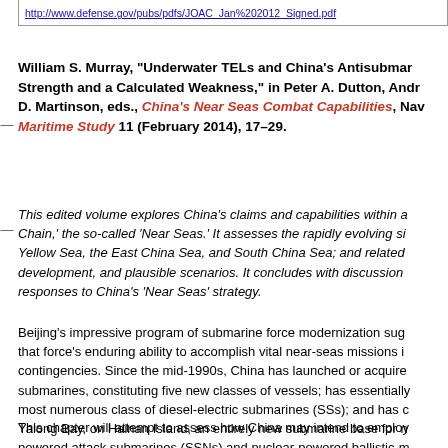http://www.defense.gov/pubs/pdfs/JOAC_Jan%202012_Signed.pdf
William S. Murray, "Underwater TELs and China's Antisubmarine Strength and a Calculated Weakness," in Peter A. Dutton, Andrew S. Erickson, and Ryan D. Martinson, eds., China's Near Seas Combat Capabilities, Naval War College Maritime Study 11 (February 2014), 17–29.
This edited volume explores China's claims and capabilities within and beyond the First Island Chain,' the so-called 'Near Seas.' It assesses the rapidly evolving situation in the Yellow Sea, the East China Sea, and South China Sea; and related forces, their development, and plausible scenarios. It concludes with discussion of potential responses to China's 'Near Seas' strategy.
Beijing's impressive program of submarine force modernization suggests concern for that force's enduring ability to accomplish vital near-seas missions in a variety of contingencies. Since the mid-1990s, China has launched or acquired over forty new submarines, constituting five new classes of vessels; has essentially retired its most numerous class of diesel-electric submarines (SSs); and has constructed, at Yalong Bay, on Hainan Island, an entirely new submarine base for nuclear-powered attack submarines (SSNs) and nuclear-powered ballistic-m
This chapter will attempt to assess how China may intend to employ